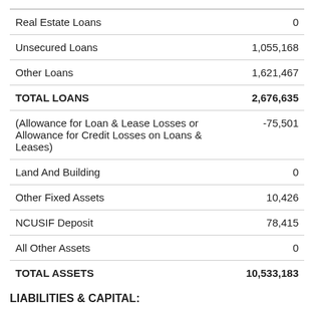| Item | Value |
| --- | --- |
| Real Estate Loans | 0 |
| Unsecured Loans | 1,055,168 |
| Other Loans | 1,621,467 |
| TOTAL LOANS | 2,676,635 |
| (Allowance for Loan & Lease Losses or Allowance for Credit Losses on Loans & Leases) | -75,501 |
| Land And Building | 0 |
| Other Fixed Assets | 10,426 |
| NCUSIF Deposit | 78,415 |
| All Other Assets | 0 |
| TOTAL ASSETS | 10,533,183 |
LIABILITIES & CAPITAL: